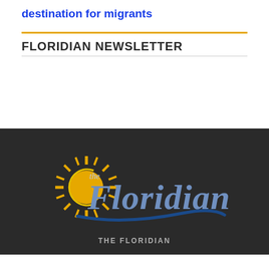destination for migrants
FLORIDIAN NEWSLETTER
[Figure (logo): The Floridian newspaper logo with sun graphic on dark background]